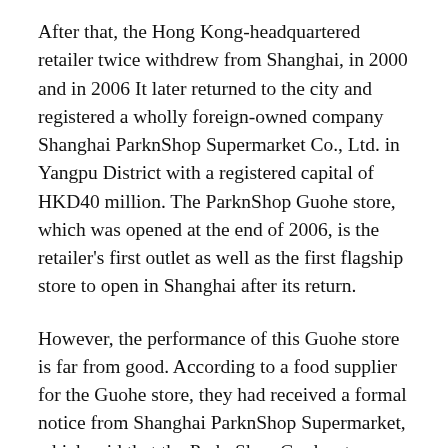After that, the Hong Kong-headquartered retailer twice withdrew from Shanghai, in 2000 and in 2006 It later returned to the city and registered a wholly foreign-owned company Shanghai ParknShop Supermarket Co., Ltd. in Yangpu District with a registered capital of HKD40 million. The ParknShop Guohe store, which was opened at the end of 2006, is the retailer's first outlet as well as the first flagship store to open in Shanghai after its return.
However, the performance of this Guohe store is far from good. According to a food supplier for the Guohe store, they had received a formal notice from Shanghai ParknShop Supermarket, which said that the ParknShop Guohe store would suspend operations from the end of 2008 while its Meilongzhen store would maintain normal operations. At the same time, ParknShop will